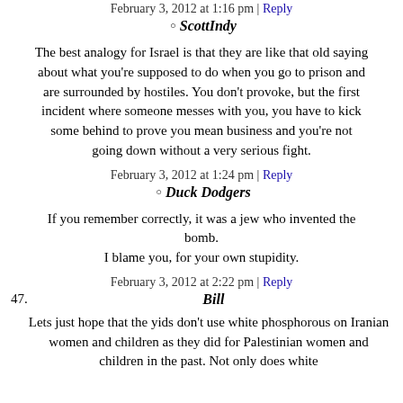February 3, 2012 at 1:16 pm | Reply
ScottIndy
The best analogy for Israel is that they are like that old saying about what you're supposed to do when you go to prison and are surrounded by hostiles. You don't provoke, but the first incident where someone messes with you, you have to kick some behind to prove you mean business and you're not going down without a very serious fight.
February 3, 2012 at 1:24 pm | Reply
Duck Dodgers
If you remember correctly, it was a jew who invented the bomb.
I blame you, for your own stupidity.
February 3, 2012 at 2:22 pm | Reply
47. Bill
Lets just hope that the yids don't use white phosphorous on Iranian women and children as they did for Palestinian women and children in the past. Not only does white phosphorus burn through a victim's organs, but the smoke